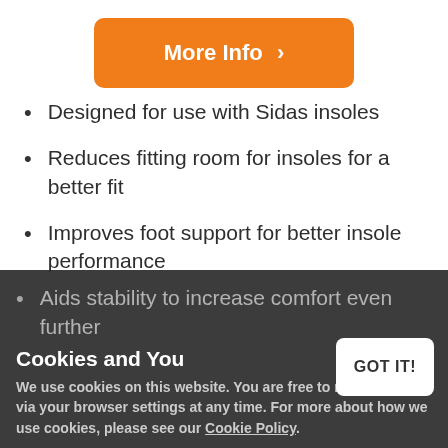[Figure (other): Orange 'More Info >' button with rounded corners]
Designed for use with Sidas insoles
Reduces fitting room for insoles for a better fit
Improves foot support for better insole performance
Aids stability to increase comfort even further
Cookies and You
We use cookies on this website. You are free to manage these via your browser settings at any time. For more about how we use cookies, please see our Cookie Policy.